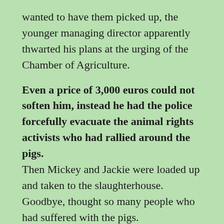wanted to have them picked up, the younger managing director apparently thwarted his plans at the urging of the Chamber of Agriculture.
Even a price of 3,000 euros could not soften him, instead he had the police forcefully evacuate the animal rights activists who had rallied around the pigs. Then Mickey and Jackie were loaded up and taken to the slaughterhouse. Goodbye, thought so many people who had suffered with the pigs.
But now the VGT has received very good news: the two pigs were again freed by strangers on